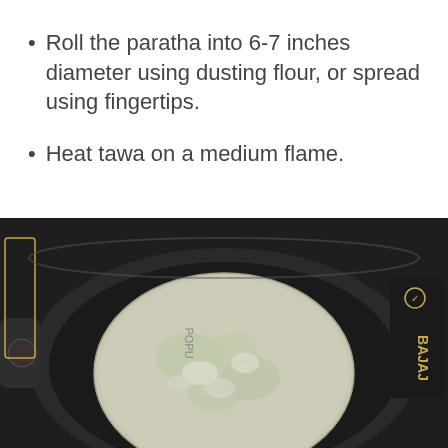Roll the paratha into 6-7 inches diameter using dusting flour, or spread using fingertips.
Heat tawa on a medium flame.
[Figure (photo): A raw paratha placed on a black Bajaj tawa (griddle/pan). The paratha is round, flat, and lightly dusted with flour, showing a pale greenish-grey color. The tawa is dark/black with the Bajaj logo visible on the right side.]